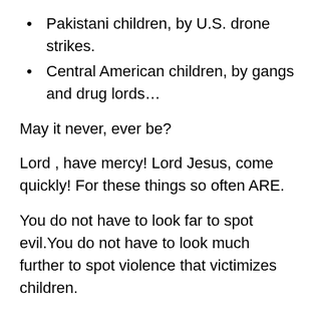Pakistani children, by U.S. drone strikes.
Central American children, by gangs and drug lords…
May it never, ever be?
Lord , have mercy! Lord Jesus, come quickly! For these things so often ARE.
You do not have to look far to spot evil.You do not have to look much further to spot violence that victimizes children.
This is not an ancient Egyptian or Judean issue,it is an issue for today – an issue for